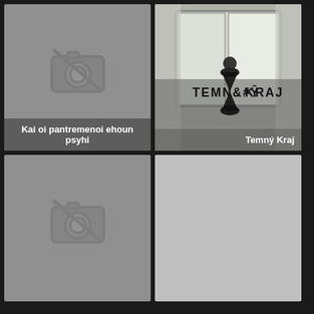[Figure (illustration): Gray placeholder tile with no-photo camera icon and caption 'Kai oi pantremenoi ehoun psyhi']
[Figure (photo): Black and white photo of a window interior with TEMNY KRAJ hourglass logo overlaid, caption 'Temný Kraj']
[Figure (illustration): Gray placeholder tile with no-photo camera icon, no caption]
[Figure (illustration): Light gray blank placeholder tile, no caption]